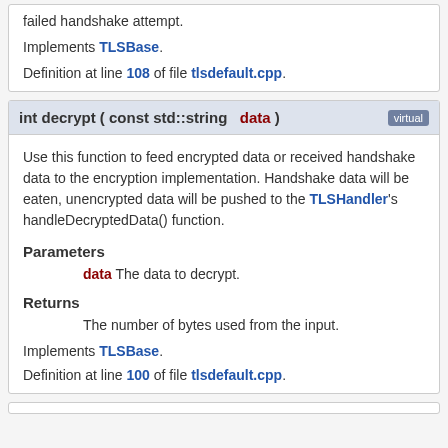failed handshake attempt.
Implements TLSBase.
Definition at line 108 of file tlsdefault.cpp.
int decrypt ( const std::string &  data )  virtual
Use this function to feed encrypted data or received handshake data to the encryption implementation. Handshake data will be eaten, unencrypted data will be pushed to the TLSHandler's handleDecryptedData() function.
Parameters
data  The data to decrypt.
Returns
The number of bytes used from the input.
Implements TLSBase.
Definition at line 100 of file tlsdefault.cpp.